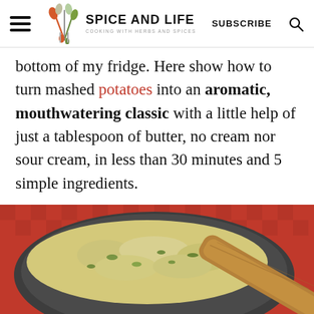SPICE AND LIFE — COOKING WITH HERBS AND SPICES | SUBSCRIBE
bottom of my fridge. Here show how to turn mashed potatoes into an aromatic, mouthwatering classic with a little help of just a tablespoon of butter, no cream nor sour cream, in less than 30 minutes and 5 simple ingredients.
[Figure (photo): A close-up photo of herbed mashed potatoes in a dark speckled ceramic bowl with a wooden spoon, on a red checkered background.]